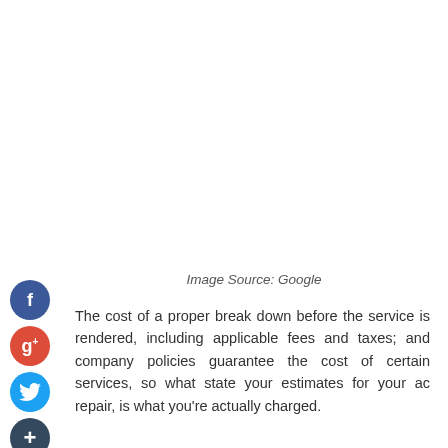[Figure (photo): Blank white image area (image sourced from Google, not visible in this crop)]
Image Source: Google
The cost of a proper break down before the service is rendered, including applicable fees and taxes; and company policies guarantee the cost of certain services, so what state your estimates for your ac repair, is what you're actually charged.